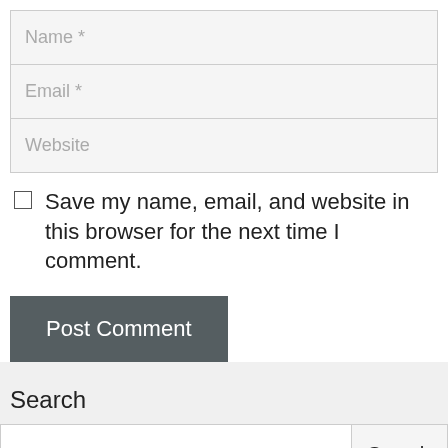Name *
Email *
Website
Save my name, email, and website in this browser for the next time I comment.
Post Comment
Search
Search